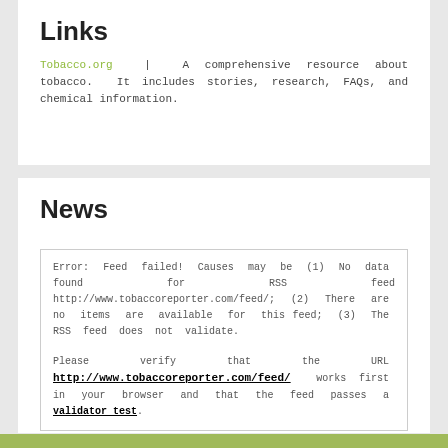Links
Tobacco.org | A comprehensive resource about tobacco. It includes stories, research, FAQs, and chemical information.
News
Error: Feed failed! Causes may be (1) No data found for RSS feed http://www.tobaccoreporter.com/feed/; (2) There are no items are available for this feed; (3) The RSS feed does not validate.

Please verify that the URL http://www.tobaccoreporter.com/feed/ works first in your browser and that the feed passes a validator test.